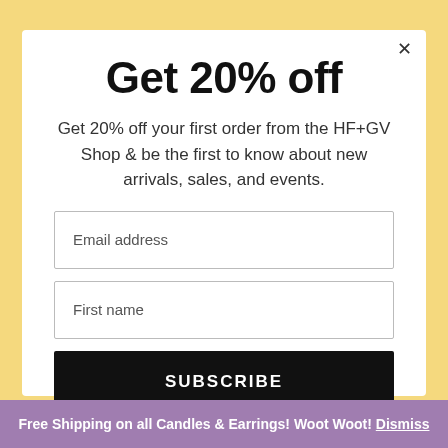Get 20% off
Get 20% off your first order from the HF+GV Shop & be the first to know about new arrivals, sales, and events.
Email address
First name
SUBSCRIBE
Free Shipping on all Candles & Earrings! Woot Woot! Dismiss